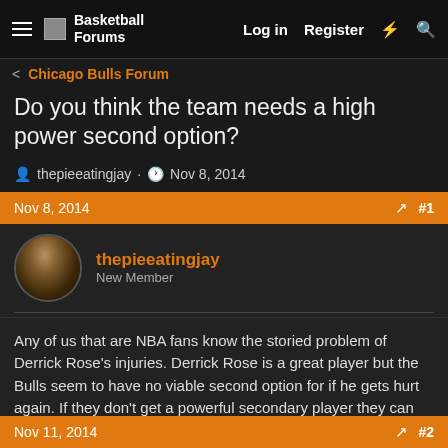Basketball Forums  Log in  Register
< Chicago Bulls Forum
Do you think the team needs a high power second option?
thepieeatingjay · Nov 8, 2014
Nov 8, 2014  #1
thepieeatingjay
New Member
Any of us that are NBA fans know the storied problem of Derrick Rose's injuries. Derrick Rose is a great player but the Bulls seem to have no viable second option for if he gets hurt again. If they don't get a powerful secondary player they can end up the way the Pacers are right now.
Nov 11, 2014  #2